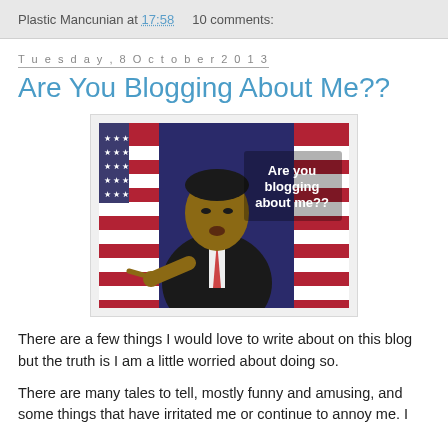Plastic Mancunian at 17:58   10 comments:
Tuesday, 8 October 2013
Are You Blogging About Me??
[Figure (photo): Photo of Barack Obama in a suit pointing at the camera with text overlay reading 'Are you blogging about me??' in front of American flags]
There are a few things I would love to write about on this blog but the truth is I am a little worried about doing so.
There are many tales to tell, mostly funny and amusing, and some things that have irritated me or continue to annoy me. I